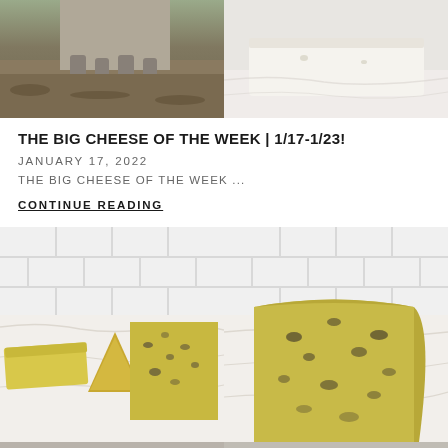[Figure (photo): Two photos side by side at top: left shows goat legs on dirt ground, right shows a white cheese block on marble surface]
THE BIG CHEESE OF THE WEEK | 1/17-1/23!
JANUARY 17, 2022
THE BIG CHEESE OF THE WEEK ...
CONTINUE READING
[Figure (photo): Two photos side by side at bottom: left shows yellow and blue cheese wedges on marble surface with white tile background, right shows a large blue cheese wedge on marble surface with white tile background]
[Figure (photo): Partial bottom strip showing more cheese photos]